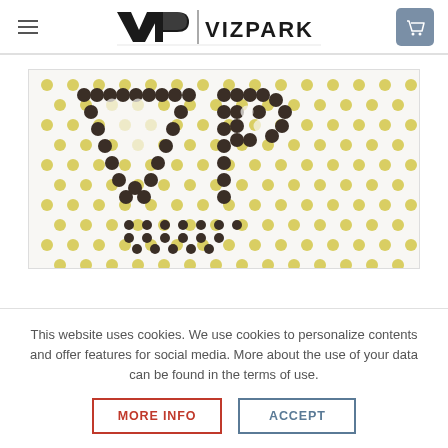VIZPARK
[Figure (photo): Close-up photo of a 3D-printed or physical VP (VizPark) logo made from small spherical dots/beads in dark brown/black and yellow-green colors against a white dotted background.]
This website uses cookies. We use cookies to personalize contents and offer features for social media. More about the use of your data can be found in the terms of use.
MORE INFO
ACCEPT